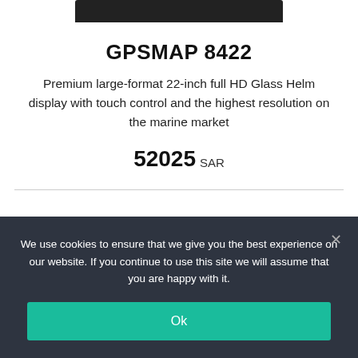[Figure (photo): Top portion of a Garmin GPSMAP 8422 device, showing the dark bezel of the display]
GPSMAP 8422
Premium large-format 22-inch full HD Glass Helm display with touch control and the highest resolution on the marine market
52025 SAR
We use cookies to ensure that we give you the best experience on our website. If you continue to use this site we will assume that you are happy with it.